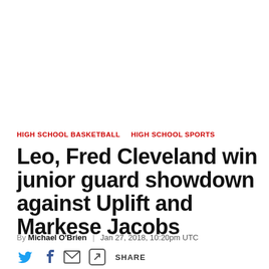HIGH SCHOOL BASKETBALL   HIGH SCHOOL SPORTS
Leo, Fred Cleveland win junior guard showdown against Uplift and Markese Jacobs
By Michael O'Brien | Jan 27, 2018, 10:20pm UTC
[Figure (infographic): Social sharing buttons row: Twitter bird icon, Facebook f icon, envelope/email icon, share arrow icon with text SHARE]